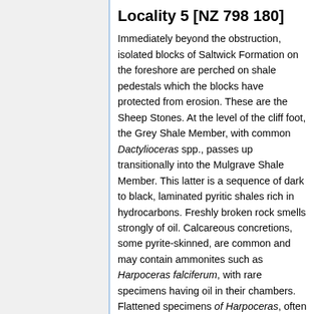Locality 5 [NZ 798 180]
Immediately beyond the obstruction, isolated blocks of Saltwick Formation on the foreshore are perched on shale pedestals which the blocks have protected from erosion. These are the Sheep Stones. At the level of the cliff foot, the Grey Shale Member, with common Dactylioceras spp., passes up transitionally into the Mulgrave Shale Member. This latter is a sequence of dark to black, laminated pyritic shales rich in hydrocarbons. Freshly broken rock smells strongly of oil. Calcareous concretions, some pyrite-skinned, are common and may contain ammonites such as Harpoceras falciferum, with rare specimens having oil in their chambers. Flattened specimens of Harpoceras, often pyritized, are abundant in the